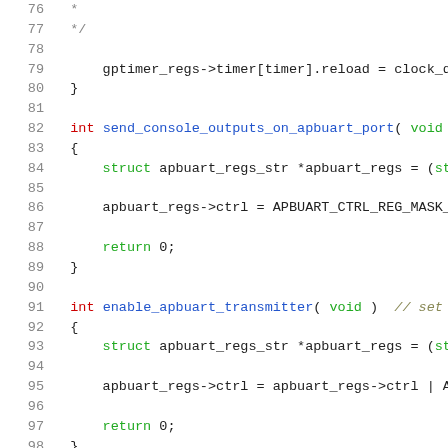[Figure (screenshot): Source code viewer showing C code lines 76-100, with syntax highlighting. Line numbers in gray on left, keywords in red/green, function names in blue, comments in olive italic.]